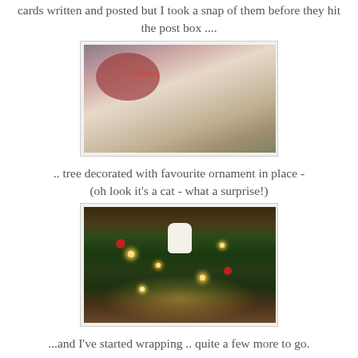cards written and posted but I took a snap of them before they hit the post box ....
[Figure (photo): Photo of handmade Christmas cards stacked and addressed in envelopes, with a decorative card featuring flowers and 'wishes' text visible at the front]
.. tree decorated with favourite ornament in place - (oh look it's a cat - what a surprise!)
[Figure (photo): Photo of a decorated Christmas tree with lights glowing, red baubles, and a white cat ornament visible among the branches]
...and I've started wrapping .. quite a few more to go.
[Figure (photo): Photo of a wrapped Christmas gift with a brown ribbon bow on top, on a light background]